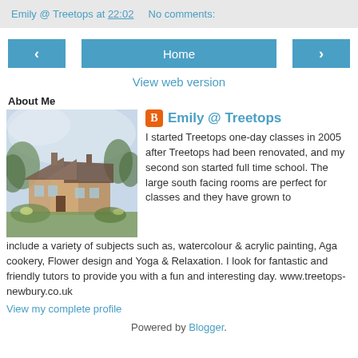Emily @ Treetops at 22:02   No comments:
< Home >
View web version
About Me
[Figure (illustration): Watercolour painting of a house with trees]
Emily @ Treetops
I started Treetops one-day classes in 2005 after Treetops had been renovated, and my second son started full time school. The large south facing rooms are perfect for classes and they have grown to include a variety of subjects such as, watercolour & acrylic painting, Aga cookery, Flower design and Yoga & Relaxation. I look for fantastic and friendly tutors to provide you with a fun and interesting day. www.treetops-newbury.co.uk
View my complete profile
Powered by Blogger.